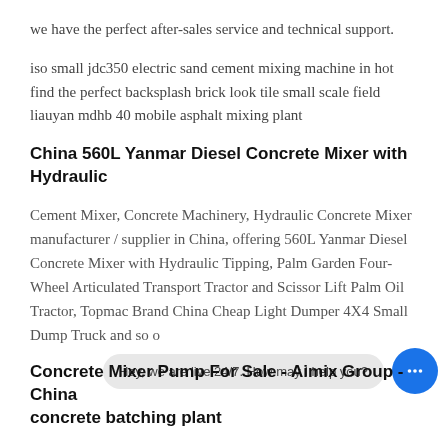we have the perfect after-sales service and technical support.
iso small jdc350 electric sand cement mixing machine in hot find the perfect backsplash brick look tile small scale field liauyan mdhb 40 mobile asphalt mixing plant
China 560L Yanmar Diesel Concrete Mixer with Hydraulic
Cement Mixer, Concrete Machinery, Hydraulic Concrete Mixer manufacturer / supplier in China, offering 560L Yanmar Diesel Concrete Mixer with Hydraulic Tipping, Palm Garden Four-Wheel Articulated Transport Tractor and Scissor Lift Palm Oil Tractor, Topmac Brand China Cheap Light Dumper 4X4 Small Dump Truck and so o
Concrete Mixer Pump For Sale - Aimix Group - China concrete batching plant